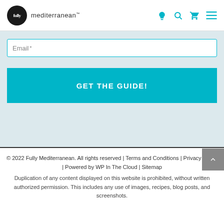fully mediterranean™
Email *
GET THE GUIDE!
© 2022 Fully Mediterranean. All rights reserved | Terms and Conditions | Privacy Policy | Powered by WP In The Cloud | Sitemap
Duplication of any content displayed on this website is prohibited, without written authorized permission. This includes any use of images, recipes, blog posts, and screenshots.